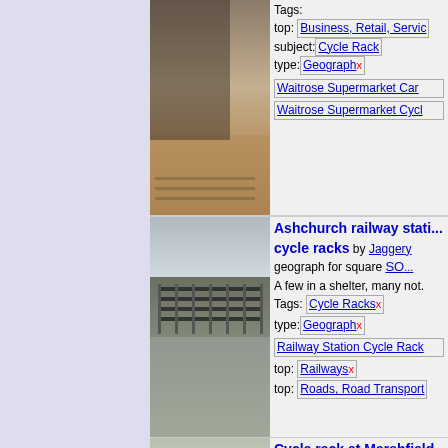[Figure (photo): Photo of cycle rack at a car park, appears flooded/wet, covered canopy area]
Tags:
top: Business, Retail, Service
subject: Cycle Rack
type: Geograph x
Waitrose Supermarket Car...
Waitrose Supermarket Cycl...
[Figure (photo): Photo of cycle racks at Ashchurch railway station, outdoor racks along a path]
Ashchurch railway station cycle racks by Jaggery geograph for square SO...
A few in a shelter, many not.
Tags: Cycle Racks x
type: Geograph x
Railway Station Cycle Rack...
top: Railways x
top: Roads, Road Transport...
[Figure (photo): Photo of cycle rack at Marshfield Primary School]
Cycle rack at Marshfield Primary School by Olive... for square ST7873
A rare sight especially at a prim... children are so often conveyed...